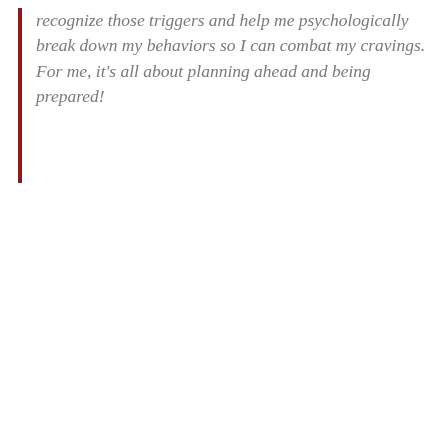recognize those triggers and help me psychologically break down my behaviors so I can combat my cravings. For me, it's all about planning ahead and being prepared!